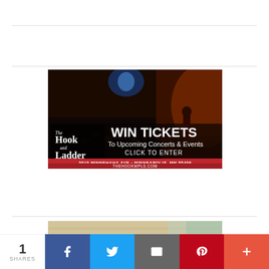[Figure (photo): The Hook and Ladder Theater & Lounge advertisement banner. Concert venue photo with crowd and stage. Text overlay: 'WIN TICKETS To Upcoming Concerts & Events CLICK TO ENTER'. Address: 3010 MINNEHAHA AVE • MINNEAPOLIS, MN 55406 THEHOOKMPLS.COM]
[Figure (photo): Close-up photo of a person's blonde hair from above]